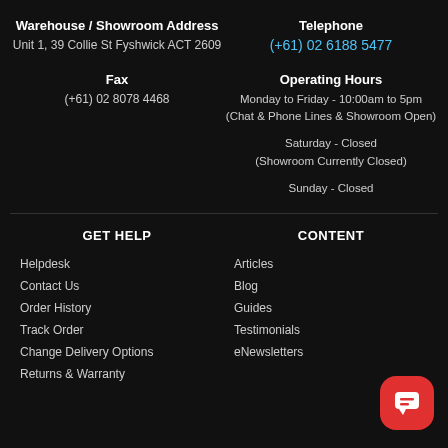Warehouse / Showroom Address
Unit 1, 39 Collie St Fyshwick ACT 2609
Telephone
(+61) 02 6188 5477
Fax
(+61) 02 8078 4468
Operating Hours
Monday to Friday - 10:00am to 5pm (Chat & Phone Lines & Showroom Open)
Saturday - Closed (Showroom Currently Closed)
Sunday - Closed
GET HELP
Helpdesk
Contact Us
Order History
Track Order
Change Delivery Options
Returns & Warranty
CONTENT
Articles
Blog
Guides
Testimonials
eNewsletters